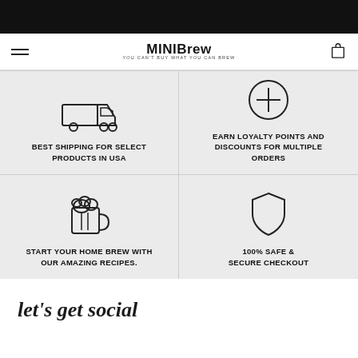[Figure (logo): MiniBrew logo with tagline 'You can't buy what you can brew']
[Figure (infographic): Four feature blocks: best shipping for select products in USA (truck icon), earn loyalty points and discounts for multiple orders (star/circle icon), start your home brew with our amazing recipes (beer mug icon), 100% safe & secure checkout (shield icon)]
let's get social